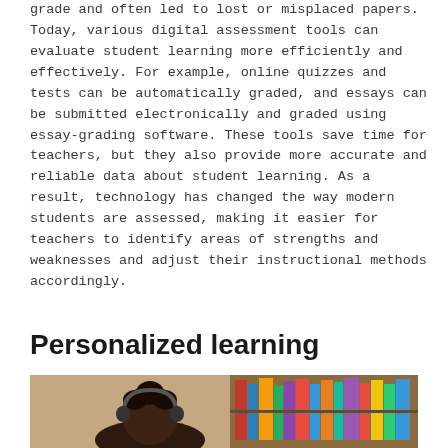grade and often led to lost or misplaced papers. Today, various digital assessment tools can evaluate student learning more efficiently and effectively. For example, online quizzes and tests can be automatically graded, and essays can be submitted electronically and graded using essay-grading software. These tools save time for teachers, but they also provide more accurate and reliable data about student learning. As a result, technology has changed the way modern students are assessed, making it easier for teachers to identify areas of strengths and weaknesses and adjust their instructional methods accordingly.
Personalized learning
[Figure (photo): A student wearing headphones sitting in front of a bookshelf filled with books]